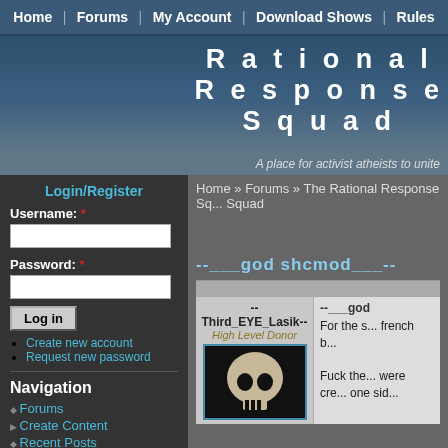Home | Forums | My Account | Download Shows | Rules
Rational Response Squad
A place for activist atheists to unite
Home » Forums » The Rational Response Squad
--___god shcmod___--
Login/Register
Username:
Password:
Log in
Create new account
Request new password
Navigation
Forums
Create Content
Recent Posts
--Third_EYE_Lasik--
High Level Donor
--___god
For the s... french b...
Fuck the... were cre... one sid...